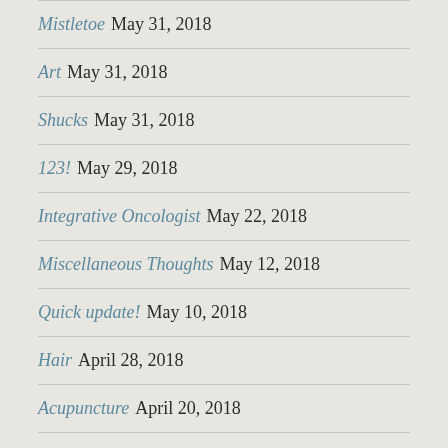Mistletoe May 31, 2018
Art May 31, 2018
Shucks May 31, 2018
123! May 29, 2018
Integrative Oncologist May 22, 2018
Miscellaneous Thoughts May 12, 2018
Quick update! May 10, 2018
Hair April 28, 2018
Acupuncture April 20, 2018
Report on first chemo day April 17, 2018